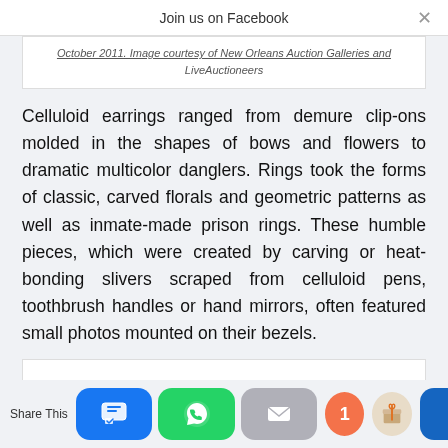Join us on Facebook
October 2011. Image courtesy of New Orleans Auction Galleries and LiveAuctioneers
Celluloid earrings ranged from demure clip-ons molded in the shapes of bows and flowers to dramatic multicolor danglers. Rings took the forms of classic, carved florals and geometric patterns as well as inmate-made prison rings. These humble pieces, which were created by carving or heat-bonding slivers scraped from celluloid pens, toothbrush handles or hand mirrors, often featured small photos mounted on their bezels.
[Figure (photo): Bottom portion of an image, partially visible]
Share This